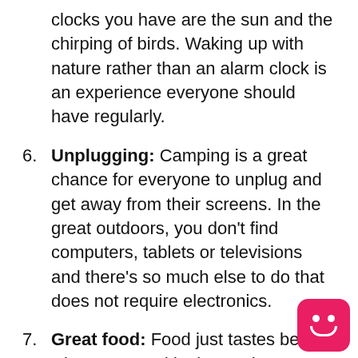clocks you have are the sun and the chirping of birds. Waking up with nature rather than an alarm clock is an experience everyone should have regularly.
6. Unplugging: Camping is a great chance for everyone to unplug and get away from their screens. In the great outdoors, you don't find computers, tablets or televisions and there's so much else to do that does not require electronics.
7. Great food: Food just tastes better when prepared in the outdoors. There's something about cooking food over a campfire, a campsite grill or in a Deluxe Cabin kitchen that just can't be replicated when you're eating at home. Plus, nothing beats s'mores made over an open fire. Dream big and plan a great menu